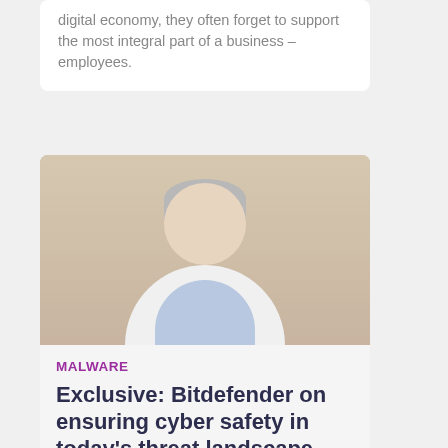digital economy, they often forget to support the most integral part of a business – employees.
[Figure (photo): Portrait photo of a middle-aged man with grey-white hair, wearing a white blazer and light blue shirt, smiling, against a neutral background.]
MALWARE
Exclusive: Bitdefender on ensuring cyber safety in today's threat landscape
As complex cybercrime continues to increase across the globe,